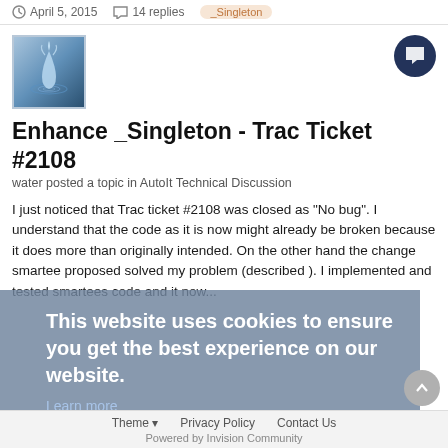April 5, 2015   14 replies   _Singleton
[Figure (photo): Avatar image of water droplet splash, blue tones]
Enhance _Singleton - Trac Ticket #2108
water posted a topic in AutoIt Technical Discussion
I just noticed that Trac ticket #2108 was closed as "No bug". I understand that the code as it is now might already be broken because it does more than originally intended. On the other hand the change smartee proposed solved my problem (described ). I implemented and tested smartees code and it now...
This website uses cookies to ensure you get the best experience on our website.
Learn more
Got it!
Theme   Privacy Policy   Contact Us
Powered by Invision Community